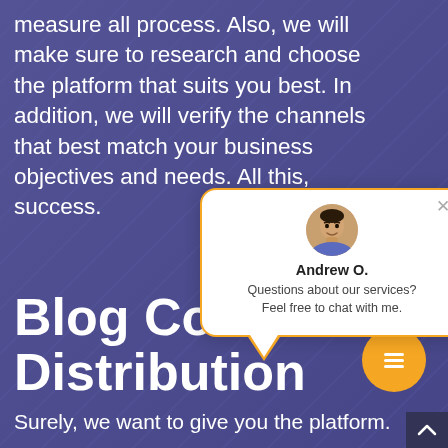measure all process. Also, we will make sure to research and choose the platform that suits you best. In addition, we will verify the channels that best match your business objectives and needs. All this, success.
[Figure (screenshot): Chat popup widget showing Andrew O. with message: Questions about our services? Feel free to chat with me.]
Blog Content Distribution
[Figure (infographic): Orange circular button with lines/list icon]
Surely, we want to give you the platform.